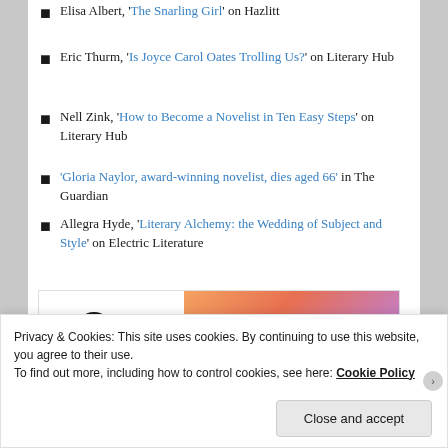Elisa Albert, 'The Snarling Girl' on Hazlitt
Eric Thurm, 'Is Joyce Carol Oates Trolling Us?' on Literary Hub
Nell Zink, 'How to Become a Novelist in Ten Easy Steps' on Literary Hub
'Gloria Naylor, award-winning novelist, dies aged 66' in The Guardian
Allegra Hyde, 'Literary Alchemy: the Wedding of Subject and Style' on Electric Literature
[Figure (screenshot): WordPress VIP advertisement banner with gradient orange-pink background and 'Learn more' button]
Privacy & Cookies: This site uses cookies. By continuing to use this website, you agree to their use. To find out more, including how to control cookies, see here: Cookie Policy